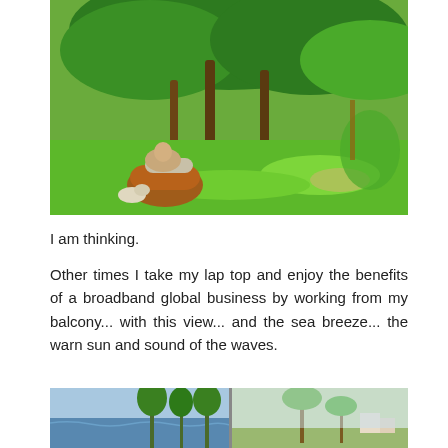[Figure (photo): Person relaxing on a wicker chair under large tropical trees on a green lawn, with a dog nearby. Lush tropical garden setting.]
I am thinking.
Other times I take my lap top and enjoy the benefits of a broadband global business by working from my balcony... with this view... and the sea breeze... the warn sun and sound of the waves.
[Figure (photo): View from a balcony showing the sea, tropical trees along a beach, and on the right side a coastal scene with palm trees and buildings.]